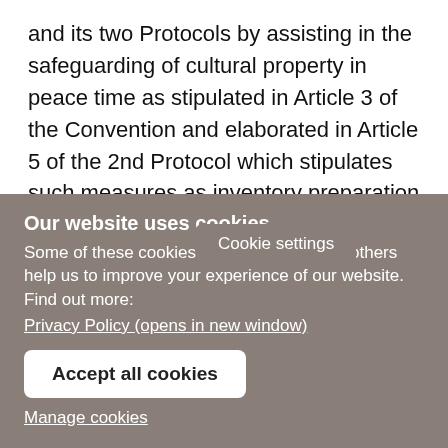and its two Protocols by assisting in the safeguarding of cultural property in peace time as stipulated in Article 3 of the Convention and elaborated in Article 5 of the 2nd Protocol which stipulates such measures as inventory preparation and disaster planning to protect against fire or building collapse and plan for the protection of cultural property in situ or for its removal if moveable.
Article 5 of the Conv[Cookie settings]e 9 of the 2nd
Our website uses cookies
Some of these cookies are essential, while others help us to improve your experience of our website. Find out more:
Privacy Policy (opens in new window)

Accept all cookies
Manage cookies